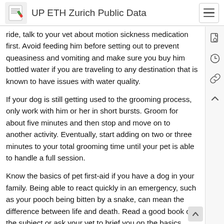UP ETH Zurich Public Data
ride, talk to your vet about motion sickness medication first. Avoid feeding him before setting out to prevent queasiness and vomiting and make sure you buy him bottled water if you are traveling to any destination that is known to have issues with water quality.
If your dog is still getting used to the grooming process, only work with him or her in short bursts. Groom for about five minutes and then stop and move on to another activity. Eventually, start adding on two or three minutes to your total grooming time until your pet is able to handle a full session.
Know the basics of pet first-aid if you have a dog in your family. Being able to react quickly in an emergency, such as your pooch being bitten by a snake, can mean the difference between life and death. Read a good book on the subject or ask your vet to brief you on the basics.
Take your dog to the vet regularly. If you beloved this article and you would like to acquire more info pertaining to how to Make a dogs testicle drop please visit our own